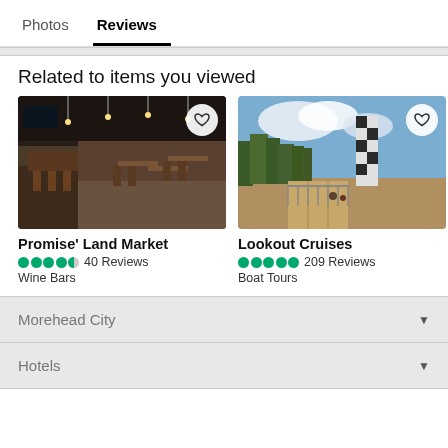Photos  Reviews
Related to items you viewed
[Figure (photo): Interior of Promise' Land Market - wine bar with wooden tables and industrial ceiling]
[Figure (photo): Lookout Cruises - outdoor scene with lighthouse/tower, trees, and boardwalk]
[Figure (photo): Partially visible third card - ocean/water view]
Promise' Land Market
40 Reviews
Wine Bars
Lookout Cruises
209 Reviews
Boat Tours
Looк
Fishin
Morehead City
Hotels